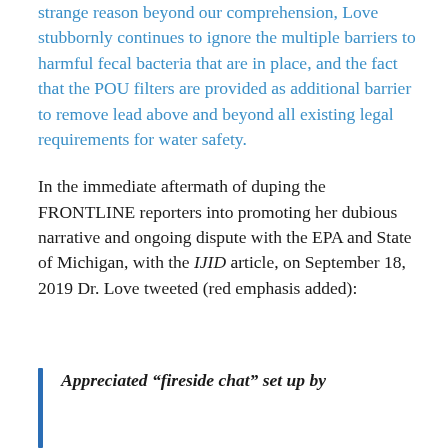strange reason beyond our comprehension, Love stubbornly continues to ignore the multiple barriers to harmful fecal bacteria that are in place, and the fact that the POU filters are provided as additional barrier to remove lead above and beyond all existing legal requirements for water safety.
In the immediate aftermath of duping the FRONTLINE reporters into promoting her dubious narrative and ongoing dispute with the EPA and State of Michigan, with the IJID article, on September 18, 2019 Dr. Love tweeted (red emphasis added):
Appreciated “fireside chat” set up by